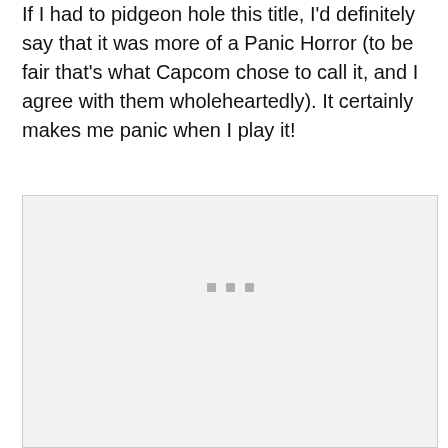If I had to pidgeon hole this title, I'd definitely say that it was more of a Panic Horror (to be fair that's what Capcom chose to call it, and I agree with them wholeheartedly). It certainly makes me panic when I play it!
[Figure (photo): A large light gray rectangular image placeholder with three small gray square dots near the bottom center, indicating an image that has not loaded or is a placeholder.]